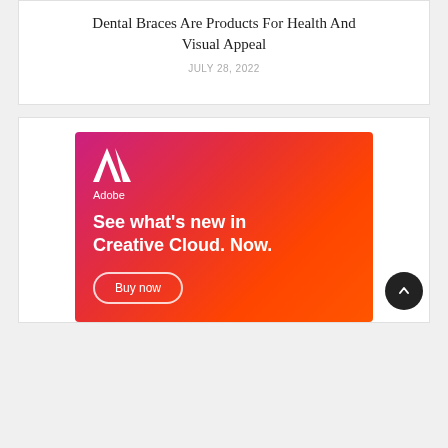Dental Braces Are Products For Health And Visual Appeal
JULY 28, 2022
[Figure (illustration): Adobe Creative Cloud advertisement banner with gradient background from pink/purple to red/orange. Features the Adobe logo (white stylized 'A'), the text 'See what’s new in Creative Cloud. Now.' in white bold text, and a 'Buy now' button with white rounded border outline. A dark circular scroll-to-top button appears in the bottom right corner.]